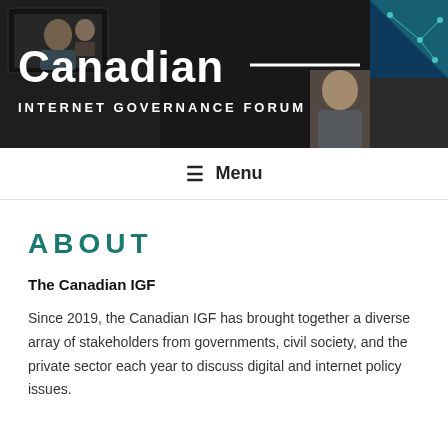[Figure (photo): Banner image for Canadian Internet Governance Forum showing people in video call and network graphics, with white text overlay reading 'Canadian — INTERNET GOVERNANCE FORUM']
☰ Menu
ABOUT
The Canadian IGF
Since 2019, the Canadian IGF has brought together a diverse array of stakeholders from governments, civil society, and the private sector each year to discuss digital and internet policy issues.